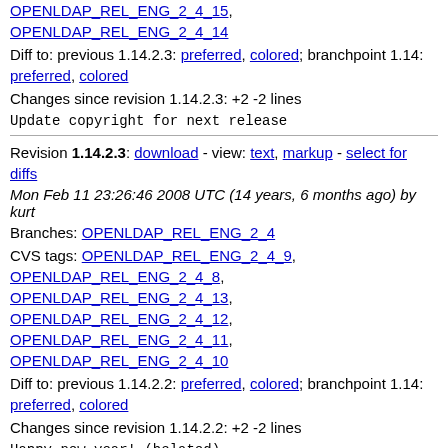OPENLDAP_REL_ENG_2_4_15, OPENLDAP_REL_ENG_2_4_14
Diff to: previous 1.14.2.3: preferred, colored; branchpoint 1.14: preferred, colored
Changes since revision 1.14.2.3: +2 -2 lines
Update copyright for next release
Revision 1.14.2.3: download - view: text, markup - select for diffs
Mon Feb 11 23:26:46 2008 UTC (14 years, 6 months ago) by kurt
Branches: OPENLDAP_REL_ENG_2_4
CVS tags: OPENLDAP_REL_ENG_2_4_9, OPENLDAP_REL_ENG_2_4_8, OPENLDAP_REL_ENG_2_4_13, OPENLDAP_REL_ENG_2_4_12, OPENLDAP_REL_ENG_2_4_11, OPENLDAP_REL_ENG_2_4_10
Diff to: previous 1.14.2.2: preferred, colored; branchpoint 1.14: preferred, colored
Changes since revision 1.14.2.2: +2 -2 lines
Happy new year! (belated)
Revision 1.14.2.2: download - view: text, markup - select for diffs
Fri Aug 31 23:14:01 2007 UTC (15 years ago) by quanah